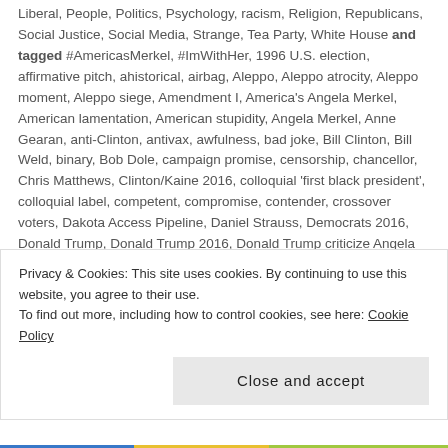Liberal, People, Politics, Psychology, racism, Religion, Republicans, Social Justice, Social Media, Strange, Tea Party, White House and tagged #AmericasMerkel, #ImWithHer, 1996 U.S. election, affirmative pitch, ahistorical, airbag, Aleppo, Aleppo atrocity, Aleppo moment, Aleppo siege, Amendment I, America's Angela Merkel, American lamentation, American stupidity, Angela Merkel, Anne Gearan, anti-Clinton, antivax, awfulness, bad joke, Bill Clinton, Bill Weld, binary, Bob Dole, campaign promise, censorship, chancellor, Chris Matthews, Clinton/Kaine 2016, colloquial 'first black president', colloquial label, competent, compromise, contender, crossover voters, Dakota Access Pipeline, Daniel Strauss, Democrats 2016, Donald Trump, Donald Trump 2016, Donald Trump criticize Angela Merkel, Donald Trump experience, Donald Trump flubbed, erectile dysfunction, executive power, fail, First Amendment, flub, foreign
Privacy & Cookies: This site uses cookies. By continuing to use this website, you agree to their use.
To find out more, including how to control cookies, see here: Cookie Policy